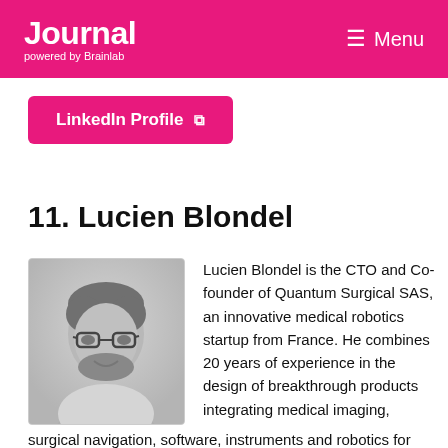Journal powered by Brainlab  ≡ Menu
LinkedIn Profile ↗
11. Lucien Blondel
[Figure (photo): Black and white headshot photo of Lucien Blondel, a man with glasses and a beard wearing a light-colored shirt]
Lucien Blondel is the CTO and Co-founder of Quantum Surgical SAS, an innovative medical robotics startup from France. He combines 20 years of experience in the design of breakthrough products integrating medical imaging, surgical navigation, software, instruments and robotics for knee surgery, brain surgery, spine surgery, and